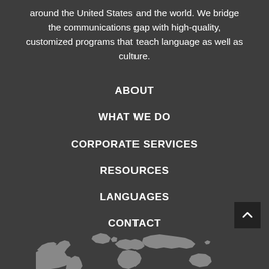around the United States and the world. We bridge the communications gap with high-quality, customized programs that teach language as well as culture.
ABOUT
WHAT WE DO
CORPORATE SERVICES
RESOURCES
LANGUAGES
CONTACT
[Figure (illustration): World map silhouette in gray at the bottom of the page]
[Figure (other): Back-to-top button (dark square with upward chevron arrow) in bottom right corner]